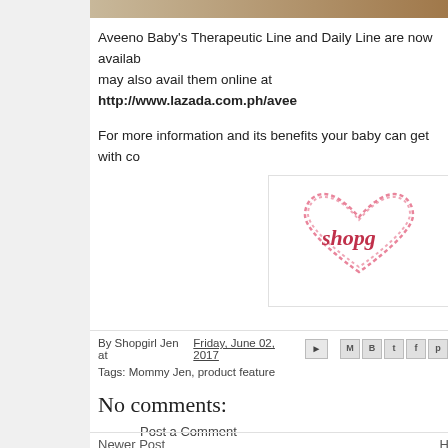[Figure (photo): Top image strip — partial photo of product or baby]
Aveeno Baby's Therapeutic Line and Daily Line are now availab… may also avail them online at http://www.lazada.com.ph/avee…
For more information and its benefits your baby can get with co…
[Figure (logo): Shopgirl logo — pink heart with 'shopg' cursive text on white background]
By Shopgirl Jen at Friday, June 02, 2017
Tags: Mommy Jen, product feature
No comments:
Post a Comment
Newer Post